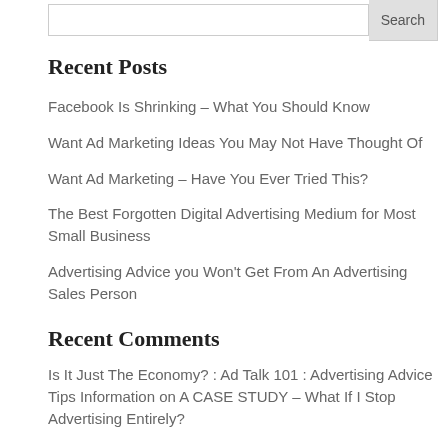Search
Recent Posts
Facebook Is Shrinking – What You Should Know
Want Ad Marketing Ideas You May Not Have Thought Of
Want Ad Marketing – Have You Ever Tried This?
The Best Forgotten Digital Advertising Medium for Most Small Business
Advertising Advice you Won't Get From An Advertising Sales Person
Recent Comments
Is It Just The Economy? : Ad Talk 101 : Advertising Advice Tips Information on A CASE STUDY – What If I Stop Advertising Entirely?